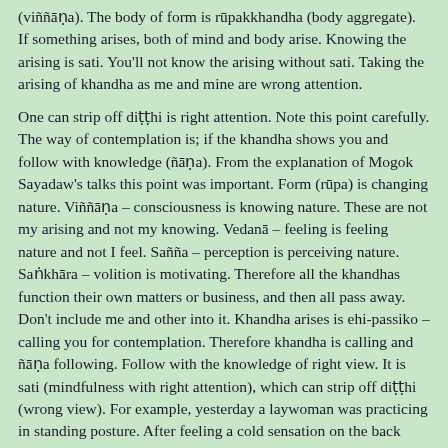(viññāṇa). The body of form is rūpakkhandha (body aggregate). If something arises, both of mind and body arise. Knowing the arising is sati. You'll not know the arising without sati. Taking the arising of khandha as me and mine are wrong attention.
One can strip off diṭṭhi is right attention. Note this point carefully. The way of contemplation is; if the khandha shows you and follow with knowledge (ñāṇa). From the explanation of Mogok Sayadaw's talks this point was important. Form (rūpa) is changing nature. Viññāṇa – consciousness is knowing nature. These are not my arising and not my knowing. Vedanā – feeling is feeling nature and not I feel. Sañña – perception is perceiving nature. Saṅkhāra – volition is motivating. Therefore all the khandhas function their own matters or business, and then all pass away. Don't include me and other into it. Khandha arises is ehi-passiko – calling you for contemplation. Therefore khandha is calling and ñāṇa following. Follow with the knowledge of right view. It is sati (mindfulness with right attention), which can strip off diṭṭhi (wrong view). For example, yesterday a laywoman was practicing in standing posture. After feeling a cold sensation on the back without aware she let go of sati and sat down. This was stuck with diṭṭhi.
For the other layman, he didn't have sati and fell down to the floor. Even after falling down he continued to experience the cold sensation. Instead of continued with the contemplation and…